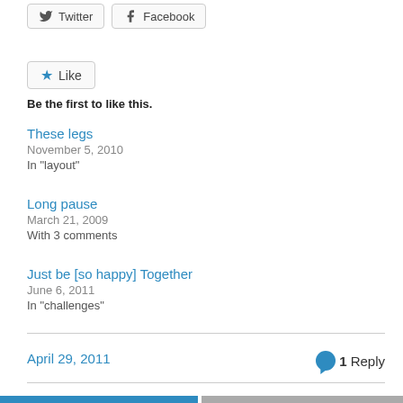[Figure (screenshot): Twitter and Facebook share buttons at the top]
[Figure (screenshot): Like button with star icon]
Be the first to like this.
These legs
November 5, 2010
In "layout"
Long pause
March 21, 2009
With 3 comments
Just be [so happy] Together
June 6, 2011
In "challenges"
April 29, 2011
1 Reply